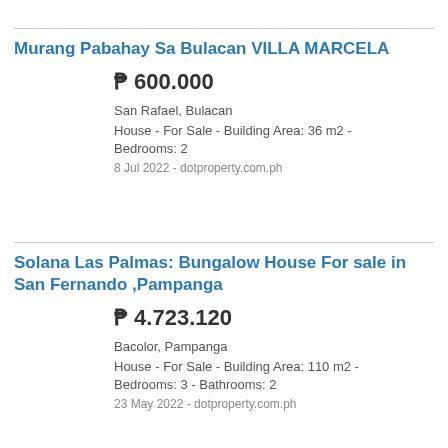Murang Pabahay Sa Bulacan VILLA MARCELA
₱ 600.000
San Rafael, Bulacan
House - For Sale - Building Area: 36 m2 - Bedrooms: 2
8 Jul 2022 - dotproperty.com.ph
Solana Las Palmas: Bungalow House For sale in San Fernando ,Pampanga
₱ 4.723.120
Bacolor, Pampanga
House - For Sale - Building Area: 110 m2 - Bedrooms: 3 - Bathrooms: 2
23 May 2022 - dotproperty.com.ph